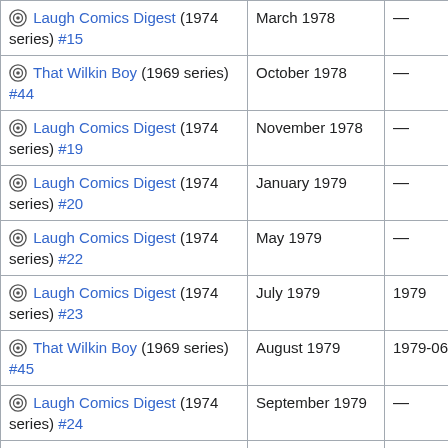| Title | Cover date | On sale date |
| --- | --- | --- |
| Laugh Comics Digest (1974 series) #15 | March 1978 | — |
| That Wilkin Boy (1969 series) #44 | October 1978 | — |
| Laugh Comics Digest (1974 series) #19 | November 1978 | — |
| Laugh Comics Digest (1974 series) #20 | January 1979 | — |
| Laugh Comics Digest (1974 series) #22 | May 1979 | — |
| Laugh Comics Digest (1974 series) #23 | July 1979 | 1979 |
| That Wilkin Boy (1969 series) #45 | August 1979 | 1979-06-05 |
| Laugh Comics Digest (1974 series) #24 | September 1979 | — |
| That Wilkin Boy (1969 series) #46 | October 1979 | — |
| Laugh Comics Digest (1974 series) #27 | March 1980 | — |
| Laugh Comics Digest (1974 series) | May 1980 |  |